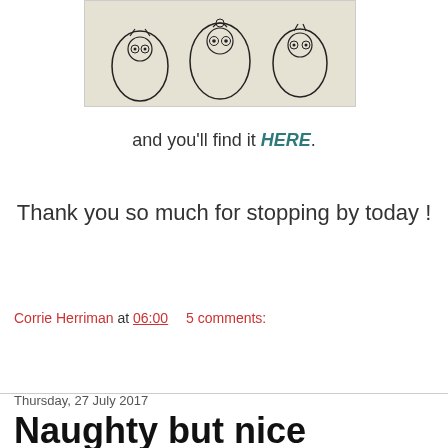[Figure (illustration): Drawing of stylized owls with decorative patterns on a handwritten/script background, shown in black and white with light yellow-green tint]
and you'll find it HERE.
Thank you so much for stopping by today !
Corrie Herriman at 06:00   5 comments:
Share
Thursday, 27 July 2017
Naughty but nice